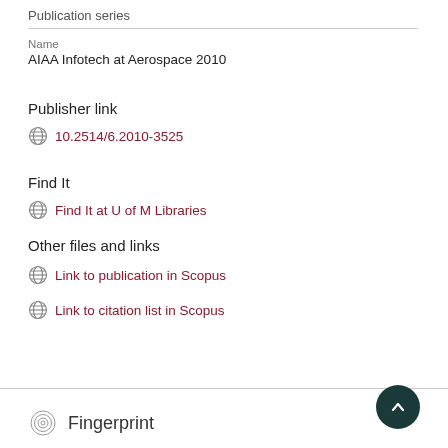Publication series
Name
AIAA Infotech at Aerospace 2010
Publisher link
10.2514/6.2010-3525
Find It
Find It at U of M Libraries
Other files and links
Link to publication in Scopus
Link to citation list in Scopus
Fingerprint